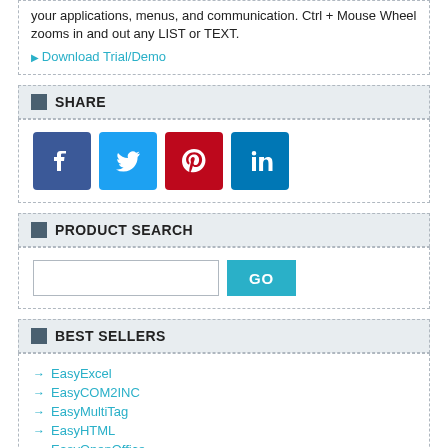your applications, menus, and communication. Ctrl + Mouse Wheel zooms in and out any LIST or TEXT.
▶ Download Trial/Demo
SHARE
[Figure (infographic): Social media sharing buttons: Facebook (blue), Twitter (light blue), Pinterest (red), LinkedIn (blue)]
PRODUCT SEARCH
[Figure (infographic): Search input box with a GO button]
BEST SELLERS
EasyExcel
EasyCOM2INC
EasyMultiTag
EasyHTML
EasyOpenOffice
EasyCam